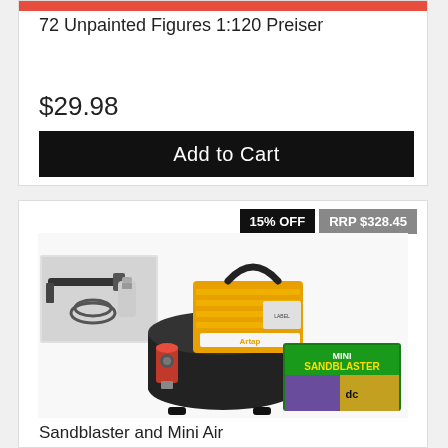72 Unpainted Figures 1:120 Preiser
$29.98
Add to Cart
15% OFF
RRP $328.45
[Figure (photo): Yellow mini air compressor with black tank, sandblaster kit accessories including airbrush gun, hose, and Mini Sandblaster Abrasive Carver Set box]
Sandblaster and Mini Air